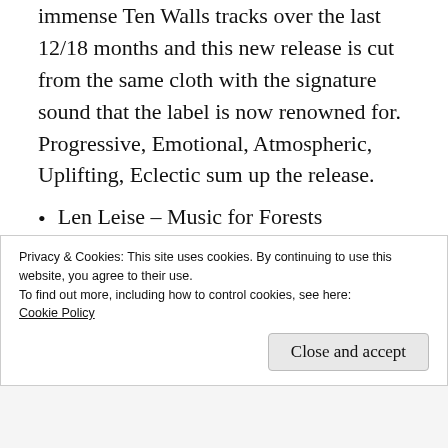immense Ten Walls tracks over the last 12/18 months and this new release is cut from the same cloth with the signature sound that the label is now renowned for. Progressive, Emotional, Atmospheric, Uplifting, Eclectic sum up the release.
Len Leise – Music for Forests (International Feel) – the most bizarre release of this promotional selection and it needs to be heard to be believed. The words used to
Privacy & Cookies: This site uses cookies. By continuing to use this website, you agree to their use.
To find out more, including how to control cookies, see here:
Cookie Policy
Close and accept